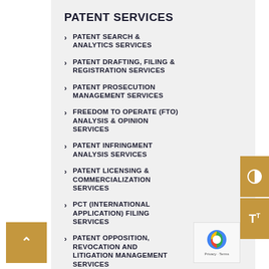PATENT SERVICES
PATENT SEARCH & ANALYTICS SERVICES
PATENT DRAFTING, FILING & REGISTRATION SERVICES
PATENT PROSECUTION MANAGEMENT SERVICES
FREEDOM TO OPERATE (FTO) ANALYSIS & OPINION SERVICES
PATENT INFRINGMENT ANALYSIS SERVICES
PATENT LICENSING & COMMERCIALIZATION SERVICES
PCT (INTERNATIONAL APPLICATION) FILING SERVICES
PATENT OPPOSITION, REVOCATION AND LITIGATION MANAGEMENT SERVICES